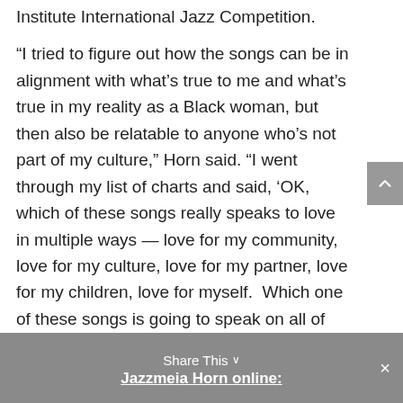Institute International Jazz Competition.
“I tried to figure out how the songs can be in alignment with what’s true to me and what’s true in my reality as a Black woman, but then also be relatable to anyone who’s not part of my culture,” Horn said. “I went through my list of charts and said, ‘OK, which of these songs really speaks to love in multiple ways — love for my community, love for my culture, love for my partner, love for my children, love for myself.  Which one of these songs is going to speak on all of those different things?’ These songs are love letters to everyone.”
Share This ∨
Jazzmeia Horn online: